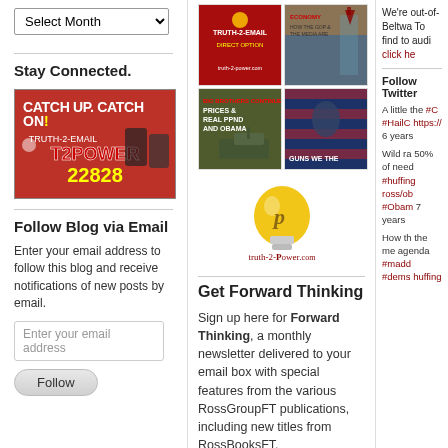Select Month
Stay Connected.
[Figure (illustration): CATCH UP, CATCH ON! TRUTH-2-EMAIL T2POWER 22828 promotional banner]
Follow Blog via Email
Enter your email address to follow this blog and receive notifications of new posts by email.
Enter your email address
Follow
[Figure (photo): Grid of 4 book/video cover images]
[Figure (logo): truth-2-Power.com lightbulb logo]
Get Forward Thinking
Sign up here for Forward Thinking, a monthly newsletter delivered to your email box with special features from the various RossGroupFT publications, including new titles from RossBooksFT.
Sign up for Forward Thinki
We're out-of- Beltwa To find to audi click he
Follow Twitter
A little the #C #HailC https:// 6 years
Wild ra 50% of need #huffing ross/ob #Obam 7 years
How th the me agenda #madd #dems huffing